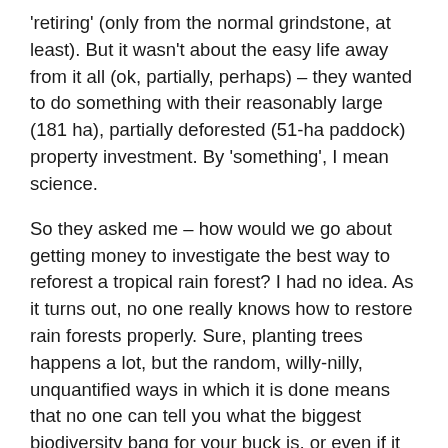'retiring' (only from the normal grindstone, at least). But it wasn't about the easy life away from it all (ok, partially, perhaps) – they wanted to do something with their reasonably large (181 ha), partially deforested (51-ha paddock) property investment. By 'something', I mean science.
So they asked me – how would we go about getting money to investigate the best way to reforest a tropical rain forest? I had no idea. As it turns out, no one really knows how to restore rain forests properly. Sure, planting trees happens a lot, but the random, willy-nilly, unquantified ways in which it is done means that no one can tell you what the biggest biodiversity bang for your buck is, or even if it can compete on the carbon sequestration front.